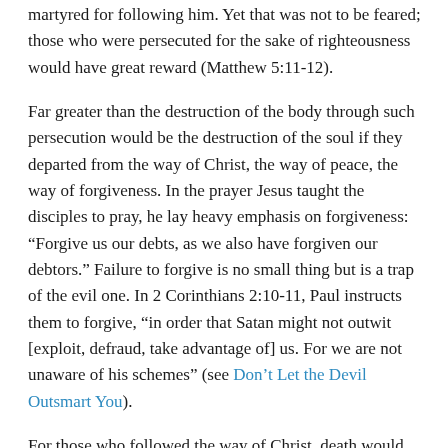martyred for following him. Yet that was not to be feared; those who were persecuted for the sake of righteousness would have great reward (Matthew 5:11-12).
Far greater than the destruction of the body through such persecution would be the destruction of the soul if they departed from the way of Christ, the way of peace, the way of forgiveness. In the prayer Jesus taught the disciples to pray, he lay heavy emphasis on forgiveness: “Forgive us our debts, as we also have forgiven our debtors.” Failure to forgive is no small thing but is a trap of the evil one. In 2 Corinthians 2:10-11, Paul instructs them to forgive, “in order that Satan might not outwit [exploit, defraud, take advantage of] us. For we are not unaware of his schemes” (see Don’t Let the Devil Outsmart You).
For those who followed the way of Christ, death would find no shame in them. But for those who turned instead to the way of violence, the Gehenna that was to follow in AD 70 would be not only the destruction of the body but also the shaming of the soul. Even if the Jews had defeated the Romans and gained the whole world by their violent resistance, their souls would have been eaten up by their own bitter hate.